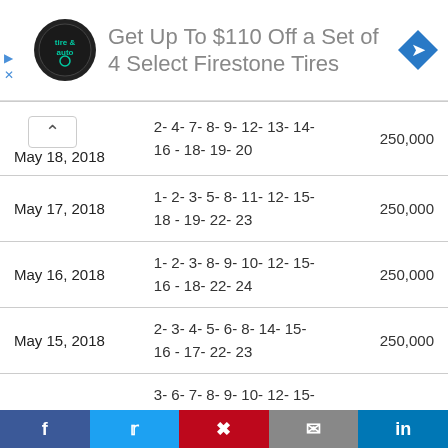[Figure (other): Advertisement banner: Firestone Tire & Auto logo, text 'Get Up To $110 Off a Set of 4 Select Firestone Tires', blue diamond navigation icon]
| Date | Numbers | Amount |
| --- | --- | --- |
| May 18, 2018 | 2- 4- 7- 8- 9- 12- 13- 14- 16 - 18- 19- 20 | 250,000 |
| May 17, 2018 | 1- 2- 3- 5- 8- 11- 12- 15- 18 - 19- 22- 23 | 250,000 |
| May 16, 2018 | 1- 2- 3- 8- 9- 10- 12- 15- 16 - 18- 22- 24 | 250,000 |
| May 15, 2018 | 2- 3- 4- 5- 6- 8- 14- 15- 16 - 17- 22- 23 | 250,000 |
|  | 3- 6- 7- 8- 9- 10- 12- 15- 16 |  |
[Figure (other): Social sharing bar with Facebook, Twitter, Pinterest, Email, LinkedIn buttons]